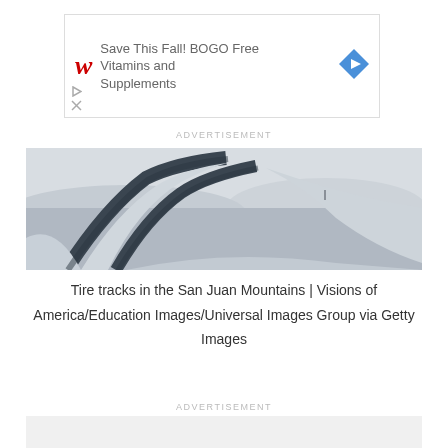[Figure (other): Walgreens advertisement banner: 'Save This Fall! BOGO Free Vitamins and Supplements' with Walgreens logo and navigation arrow icon]
ADVERTISEMENT
[Figure (photo): Black and white aerial/elevated photograph of tire tracks winding through deep snow in the San Juan Mountains]
Tire tracks in the San Juan Mountains | Visions of America/Education Images/Universal Images Group via Getty Images
ADVERTISEMENT
[Figure (other): Gray advertisement placeholder box at bottom of page]